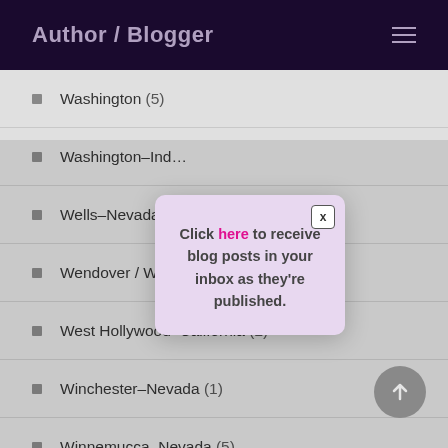Author / Blogger
Washington (5)
Washington–Ind…
Wells–Nevada (…
Wendover / Wes… (…)
West Hollywood–California (2)
Winchester–Nevada (1)
Winnemucca–Nevada (5)
Click here to receive blog posts in your inbox as they're published.